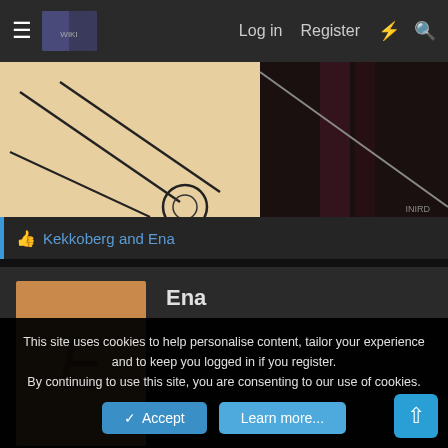≡  [logo]  Log in  Register  ⚡  🔍
[Figure (illustration): Partial anime/manga style illustration showing a letter or envelope with crossed lines and a ring/seal, with a dark background on the right side. Watermark text 'INIRD' visible in bottom right.]
👍 Kekkoberg and Ena
[Figure (illustration): User avatar placeholder: tan/brown rectangle with large italic letter E in darker brown]
Ena
This site uses cookies to help personalise content, tailor your experience and to keep you logged in if you register.
By continuing to use this site, you are consenting to our use of cookies.
✓ Accept   Learn more...